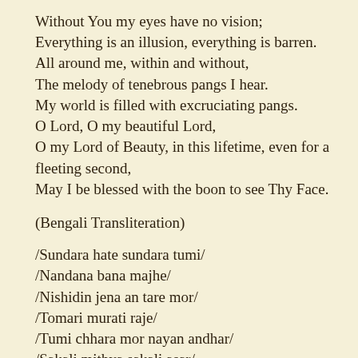Without You my eyes have no vision;
Everything is an illusion, everything is barren.
All around me, within and without,
The melody of tenebrous pangs I hear.
My world is filled with excruciating pangs.
O Lord, O my beautiful Lord,
O my Lord of Beauty, in this lifetime, even for a fleeting second,
May I be blessed with the boon to see Thy Face.
(Bengali Transliteration)
/Sundara hate sundara tumi/
/Nandana bana majhe/
/Nishidin jena an tare mor/
/Tomari murati raje/
/Tumi chhara mor nayan andhar/
/Sakali mithya sakali asar/